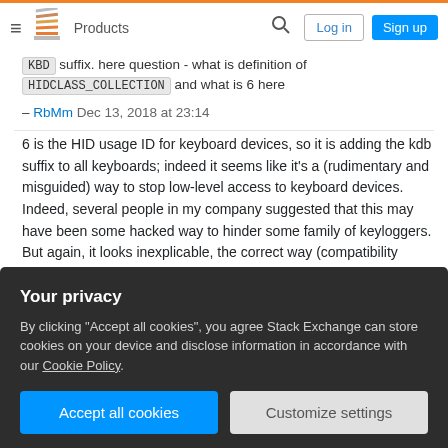Stack Overflow navigation: hamburger menu, logo, Products, search, Log in, Sign up
KBD suffix. here question - what is definition of HIDCLASS_COLLECTION and what is 6 here – RbMm Dec 13, 2018 at 23:14
6 is the HID usage ID for keyboard devices, so it is adding the kdb suffix to all keyboards; indeed it seems like it's a (rudimentary and misguided) way to stop low-level access to keyboard devices. Indeed, several people in my company suggested that this may have been some hacked way to hinder some family of keyloggers. But again, it looks inexplicable, the correct way (compatibility problems notwistanding) would have been to fix the devices ACLs, not to hardcode that keyboard devices are "magic" and cannot be opened
Your privacy
By clicking "Accept all cookies", you agree Stack Exchange can store cookies on your device and disclose information in accordance with our Cookie Policy.
Accept all cookies
Customize settings